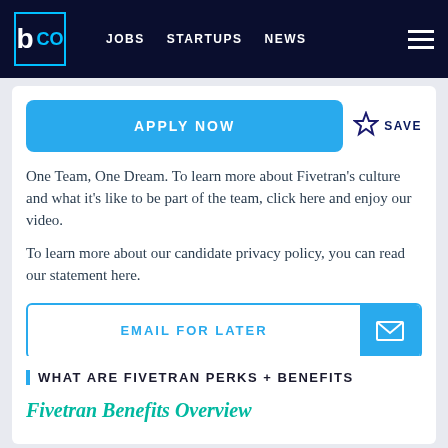b CO  JOBS  STARTUPS  NEWS
APPLY NOW
SAVE
One Team, One Dream. To learn more about Fivetran's culture and what it's like to be part of the team, click here and enjoy our video.
To learn more about our candidate privacy policy, you can read our statement here.
EMAIL FOR LATER
WHAT ARE FIVETRAN PERKS + BENEFITS
Fivetran Benefits Overview